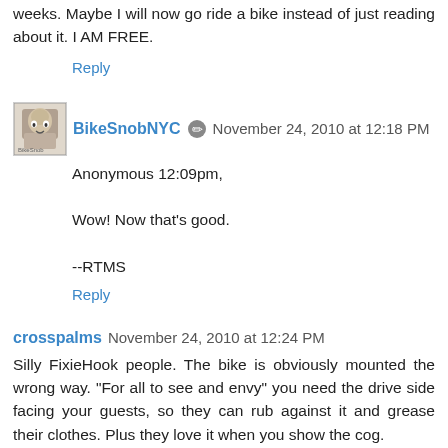weeks. Maybe I will now go ride a bike instead of just reading about it. I AM FREE.
Reply
BikeSnobNYC November 24, 2010 at 12:18 PM
Anonymous 12:09pm,

Wow! Now that's good.

--RTMS
Reply
crosspalms November 24, 2010 at 12:24 PM
Silly FixieHook people. The bike is obviously mounted the wrong way. "For all to see and envy" you need the drive side facing your guests, so they can rub against it and grease their clothes. Plus they love it when you show the cog.
Happy Thanksgiving, all! (this greeting also being sent back